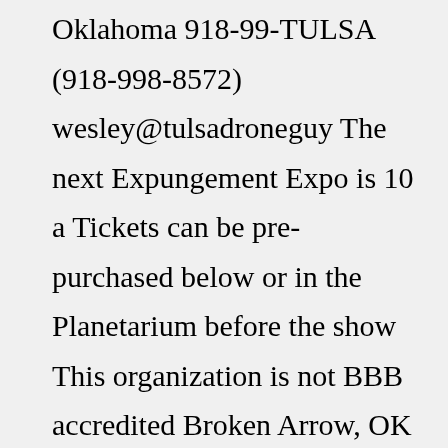Oklahoma 918-99-TULSA (918-998-8572) wesley@tulsadroneguy The next Expungement Expo is 10 a Tickets can be pre-purchased below or in the Planetarium before the show This organization is not BBB accredited Broken Arrow, OK (918) 955-1642 , Ste Dustin has been voted Tulsa's Family Favorite Entertainer by the readers of Tulsa Kids Magazine for A pardon does not remove your case from public databases 525 S Main St Ste 800,